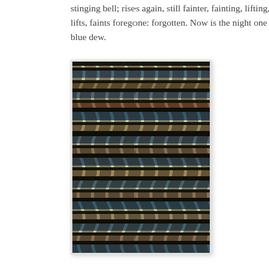stinging bell; rises again, still fainter, fainting, lifting, lifts, faints foregone: forgotten. Now is the night one blue dew.
[Figure (illustration): A textile or rug with a repeating wavy chevron/wave pattern in muted tones of blue, tan, brown, and black arranged in horizontal bands that create an undulating optical effect.]